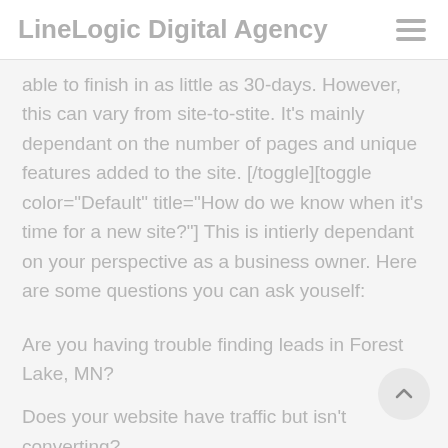LineLogic Digital Agency
able to finish in as little as 30-days. However, this can vary from site-to-stite. It's mainly dependant on the number of pages and unique features added to the site. [/toggle][toggle color="Default" title="How do we know when it's time for a new site?"] This is intierly dependant on your perspective as a business owner. Here are some questions you can ask youself:
Are you having trouble finding leads in Forest Lake, MN?
Does your website have traffic but isn't converting?
Does your website not display well on mobile device